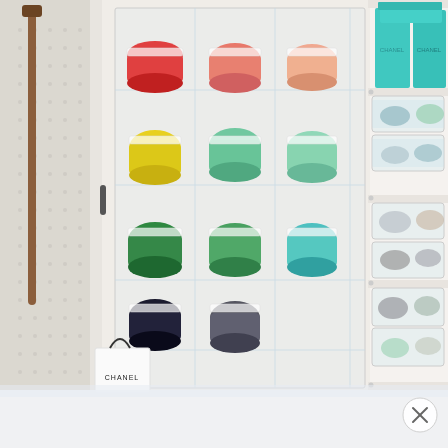[Figure (photo): Organized closet interior showing a door-mounted clear pocket shoe organizer filled with rolled colorful socks or scarves arranged by color (red, pink, orange, yellow, green, teal, dark green, teal/blue, black/grey from top to bottom). On the right side are white shelves with stacked clear plastic storage bins containing shoes and accessories, and teal/turquoise decorative boxes on the top shelf. On the left is a pegboard wall with a brown belt hook and a white Chanel shopping bag on the floor. The bottom of the image shows a frosted/blurred white surface overlay, and a circular close button (×) in the lower right corner.]